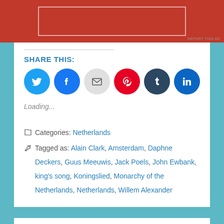[Figure (other): Red advertisement banner with inner bordered rectangle]
SHARE THIS:
[Figure (other): Social sharing buttons: Twitter, Facebook, Email, Pinterest, Tumblr, LinkedIn]
Loading...
Categories: Netherlands
Tagged as: Alain Clark, Amsterdam, Daphne Deckers, Guus Meeuwis, Jack Poels, John Ewbank, king's song, Koningslied, Monarchy of the Netherlands, Netherlands, Willem Alexander